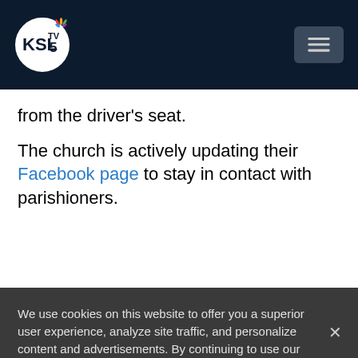[Figure (logo): KSL TV 5 NBC logo with NBC peacock on dark navy header bar with hamburger menu button]
from the driver's seat.
The church is actively updating their Facebook page to stay in contact with parishioners.
We use cookies on this website to offer you a superior user experience, analyze site traffic, and personalize content and advertisements. By continuing to use our site, you consent to our use of cookies. Please visit our Privacy Policy for more information.
Accept Cookies